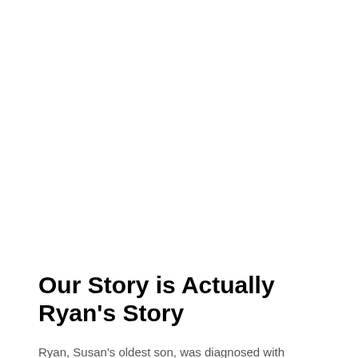Our Story is Actually Ryan's Story
Ryan, Susan's oldest son, was diagnosed with